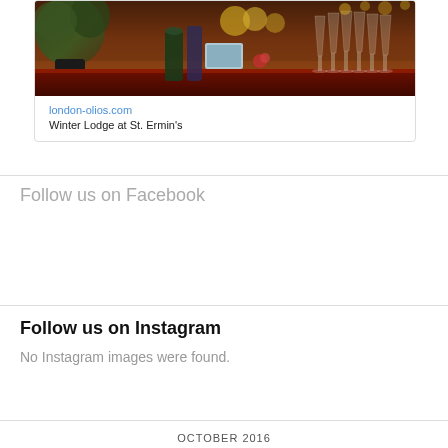[Figure (photo): Bar scene showing glassware including tall champagne flutes, plants, and bottles on a bar counter with warm amber/brown tones]
london-olios.com
Winter Lodge at St. Ermin's
Follow us on Facebook
Follow us on Instagram
No Instagram images were found.
OCTOBER 2016